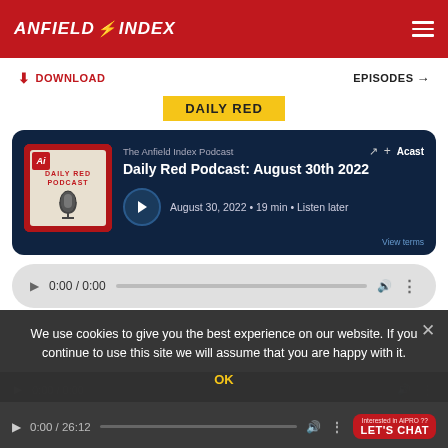ANFIELD INDEX
DOWNLOAD   EPISODES →
DAILY RED
[Figure (screenshot): Acast embedded podcast player showing 'The Anfield Index Podcast - Daily Red Podcast: August 30th 2022', dated August 30, 2022, 19 min, with play button]
0:00 / 0:00
0:00 / 0:00
We use cookies to give you the best experience on our website. If you continue to use this site we will assume that you are happy with it.
OK
0:00 / 26:12